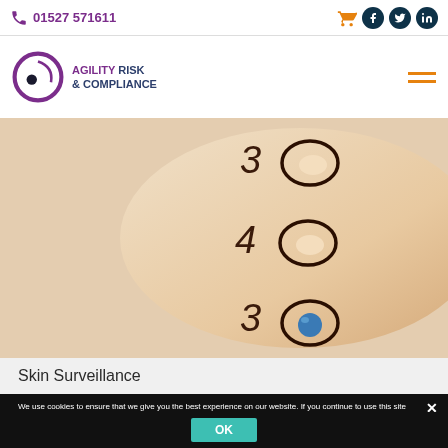01527 571611
[Figure (logo): Agility Risk & Compliance logo — purple circular icon with black dot, text AGILITY RISK & COMPLIANCE]
[Figure (photo): Close-up photo of a forearm with allergy skin prick test markings — numbered circles with coloured dots on skin]
Skin Surveillance
We use cookies to ensure that we give you the best experience on our website. If you continue to use this site we will assume that you are happy with it.